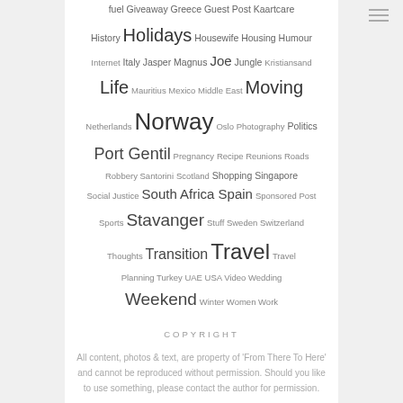fuel Giveaway Greece Guest Post Kaartcare History Holidays Housewife Housing Humour Internet Italy Jasper Magnus Joe Jungle Kristiansand Life Mauritius Mexico Middle East Moving Netherlands Norway Oslo Photography Politics Port Gentil Pregnancy Recipe Reunions Roads Robbery Santorini Scotland Shopping Singapore Social Justice South Africa Spain Sponsored Post Sports Stavanger Stuff Sweden Switzerland Thoughts Transition Travel Travel Planning Turkey UAE USA Video Wedding Weekend Winter Women Work
COPYRIGHT
All content, photos & text, are property of 'From There To Here' and cannot be reproduced without permission. Should you like to use something, please contact the author for permission.